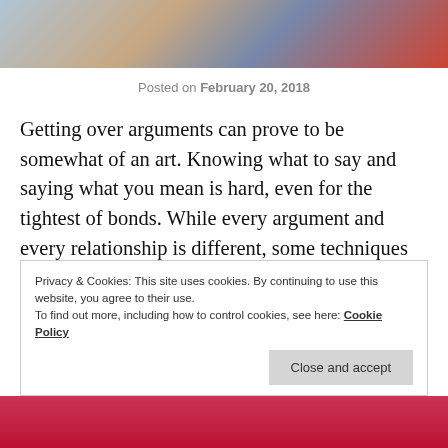[Figure (photo): Top portion of a photo showing persons in denim/casual clothing, cropped]
Posted on February 20, 2018
Getting over arguments can prove to be somewhat of an art. Knowing what to say and saying what you mean is hard, even for the tightest of bonds. While every argument and every relationship is different, some techniques have risen from the pits of even the worst and nastiest arguments that are bound to mend the hurt that may have been caused.
Privacy & Cookies: This site uses cookies. By continuing to use this website, you agree to their use.
To find out more, including how to control cookies, see here: Cookie Policy
Close and accept
[Figure (photo): Bottom portion of a photo showing a person, cropped at top of page bottom]